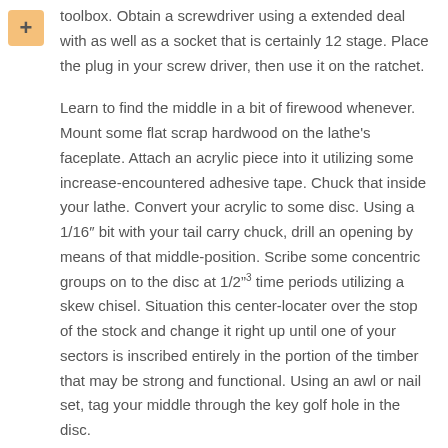toolbox. Obtain a screwdriver using a extended deal with as well as a socket that is certainly 12 stage. Place the plug in your screw driver, then use it on the ratchet.
Learn to find the middle in a bit of firewood whenever. Mount some flat scrap hardwood on the lathe's faceplate. Attach an acrylic piece into it utilizing some increase-encountered adhesive tape. Chuck that inside your lathe. Convert your acrylic to some disc. Using a 1/16″ bit with your tail carry chuck, drill an opening by means of that middle-position. Scribe some concentric groups on to the disc at 1/2"³ time periods utilizing a skew chisel. Situation this center-locater over the stop of the stock and change it right up until one of your sectors is inscribed entirely in the portion of the timber that may be strong and functional. Using an awl or nail set, tag your middle through the key golf hole in the disc.
You are able to implement blemish with possibly a brush, or